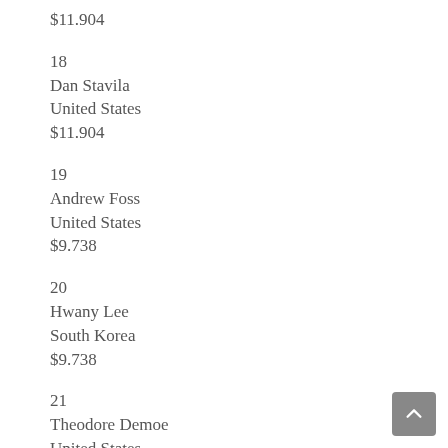$11.904
18
Dan Stavila
United States
$11.904
19
Andrew Foss
United States
$9.738
20
Hwany Lee
South Korea
$9.738
21
Theodore Demoe
United States
$9.738
22